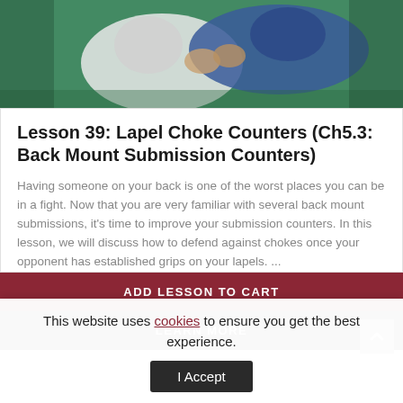[Figure (photo): Two BJJ practitioners grappling on a green mat, one in white gi and one in blue gi, demonstrating a back mount position]
Lesson 39: Lapel Choke Counters (Ch5.3: Back Mount Submission Counters)
Having someone on your back is one of the worst places you can be in a fight. Now that you are very familiar with several back mount submissions, it's time to improve your submission counters. In this lesson, we will discuss how to defend against chokes once your opponent has established grips on your lapels. ...
ADD LESSON TO CART
LEARN MORE
This website uses cookies to ensure you get the best experience.
I Accept